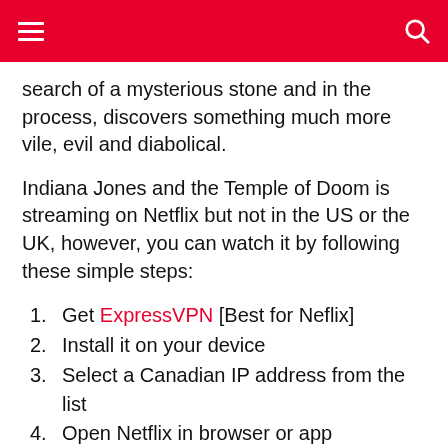search of a mysterious stone and in the process, discovers something much more vile, evil and diabolical.
Indiana Jones and the Temple of Doom is streaming on Netflix but not in the US or the UK, however, you can watch it by following these simple steps:
1. Get ExpressVPN [Best for Neflix]
2. Install it on your device
3. Select a Canadian IP address from the list
4. Open Netflix in browser or app
5. Search The Temple of Doom on Netflix
6. Enjoy